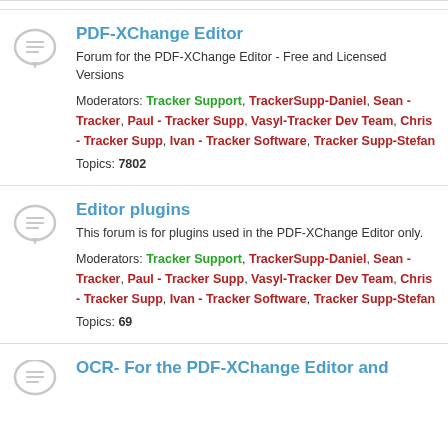PDF-XChange Editor
Forum for the PDF-XChange Editor - Free and Licensed Versions
Moderators: Tracker Support, TrackerSupp-Daniel, Sean - Tracker, Paul - Tracker Supp, Vasyl-Tracker Dev Team, Chris - Tracker Supp, Ivan - Tracker Software, Tracker Supp-Stefan
Topics: 7802
Editor plugins
This forum is for plugins used in the PDF-XChange Editor only.
Moderators: Tracker Support, TrackerSupp-Daniel, Sean - Tracker, Paul - Tracker Supp, Vasyl-Tracker Dev Team, Chris - Tracker Supp, Ivan - Tracker Software, Tracker Supp-Stefan
Topics: 69
OCR- For the PDF-XChange Editor and